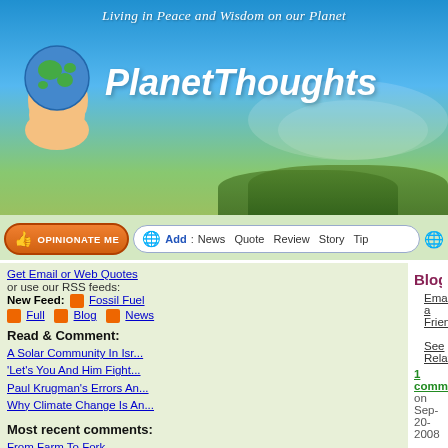Living in Peace and Wisdom on our Planet
PlanetThoughts
Opinionate Me | Add: News Quote Review Story Tip
Get Email or Web Quotes
or use our RSS feeds:
New Feed: Fossil Fuel
Full Blog News
Read & Comment:
A Solar Community In Isr...
'Let's You And Him Fight...
Paul Krugman's Errors An...
Why Climate Change Is An...
Most recent comments:
From Farm To Fork
A Simple List: Things We...
Blog item: Sustainable Develop
Email a Friend   See Related
1 comment on Sep-20-2008   Add a comment
Categories: Economic/Financial, Philosophical &
Sustainable Living
Note: this is taken from the opening words of a seminar run by Zev in 2007 in the virtual world of Second Life, where he has created and runs
[Figure (photo): Aerial view of green forest/trees from above]